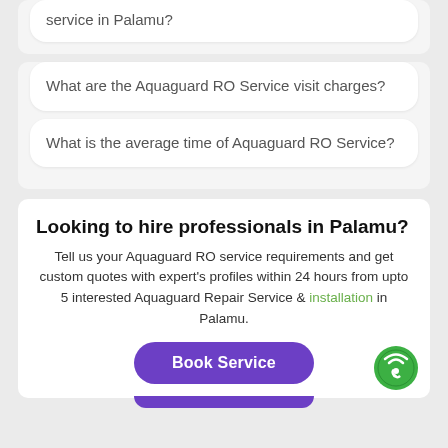service in Palamu?
What are the Aquaguard RO Service visit charges?
What is the average time of Aquaguard RO Service?
Looking to hire professionals in Palamu?
Tell us your Aquaguard RO service requirements and get custom quotes with expert's profiles within 24 hours from upto 5 interested Aquaguard Repair Service & installation in Palamu.